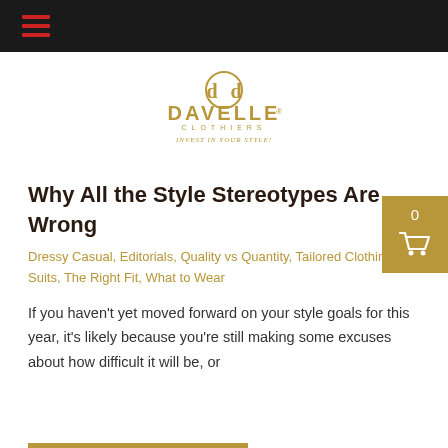[Figure (logo): Davelle Clothiers logo with golden DD monogram and text 'INVEST IN YOUR STYLE!']
Why All the Style Stereotypes Are Wrong
Dressy Casual, Editorials, Quality vs Quantity, Tailored Clothing & Suits, The Right Fit, What to Wear
If you haven't yet moved forward on your style goals for this year, it's likely because you're still making some excuses about how difficult it will be, or